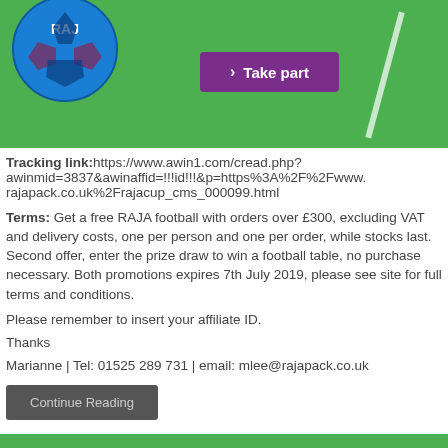[Figure (illustration): Green football field background banner with a blue RAJA branded football on the left and a purple 'Take part' button in the center]
Tracking link:https://www.awin1.com/cread.php?awinmid=3837&awinaffid=!!!id!!!&p=https%3A%2F%2Fwww.rajapack.co.uk%2Frajacup_cms_000099.html
Terms: Get a free RAJA football with orders over £300, excluding VAT and delivery costs, one per person and one per order, while stocks last. Second offer, enter the prize draw to win a football table, no purchase necessary. Both promotions expires 7th July 2019, please see site for full terms and conditions.
Please remember to insert your affiliate ID.
Thanks
Marianne | Tel: 01525 289 731 | email: mlee@rajapack.co.uk
Continue Reading